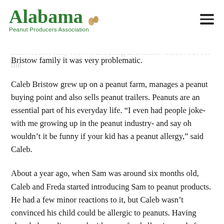Alabama Peanut Producers Association (logo and navigation header)
Henry County parents, Caleb and Freda Bristow were frightened, yet determined after finding out their youngest had a peanut allergy. For some parents this information may seem frustrating and inconvenient but for the Bristow family it was very problematic.
Caleb Bristow grew up on a peanut farm, manages a peanut buying point and also sells peanut trailers. Peanuts are an essential part of his everyday life. “I even had people joke- with me growing up in the peanut industry- and say oh wouldn’t it be funny if your kid has a peanut allergy,” said Caleb.
About a year ago, when Sam was around six months old, Caleb and Freda started introducing Sam to peanut products. He had a few minor reactions to it, but Caleb wasn’t convinced his child could be allergic to peanuts. Having already been diagnosed with some food allergies, and after a trip to a pediatric allergist, the Bristow’s worst nightmare was confirmed. Sam was